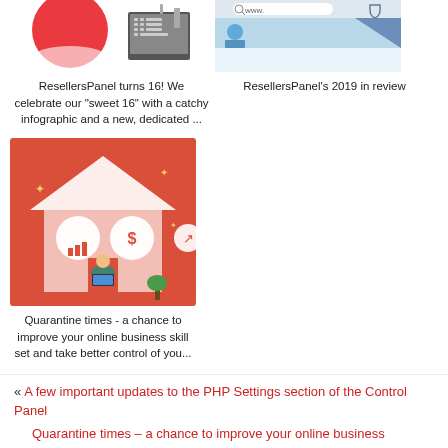[Figure (illustration): Partial image showing a red circle/logo and a device/router image - ResellersPanel turns 16 article thumbnail]
[Figure (illustration): Partial screenshot showing a browser with www. and a shield icon - ResellersPanel 2019 in review article thumbnail]
ResellersPanel turns 16! We celebrate our "sweet 16" with a catchy infographic and a new, dedicated ...
ResellersPanel's 2019 in review
[Figure (illustration): Red infographic illustration of a house with a person working on laptop inside, with chart and dollar coin icons - quarantine times article thumbnail]
Quarantine times - a chance to improve your online business skill set and take better control of you...
« A few important updates to the PHP Settings section of the Control Panel
Quarantine times – a chance to improve your online business